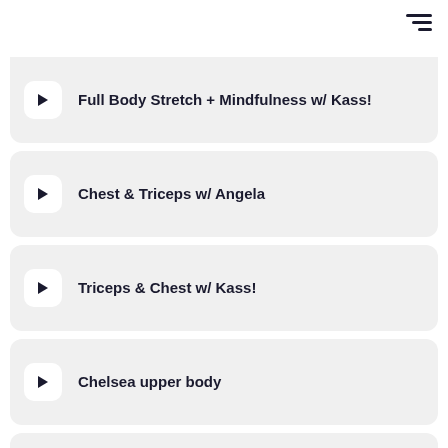Full Body Stretch + Mindfulness w/ Kass!
Chest & Triceps w/ Angela
Triceps & Chest w/ Kass!
Chelsea upper body
Cat yin for low back